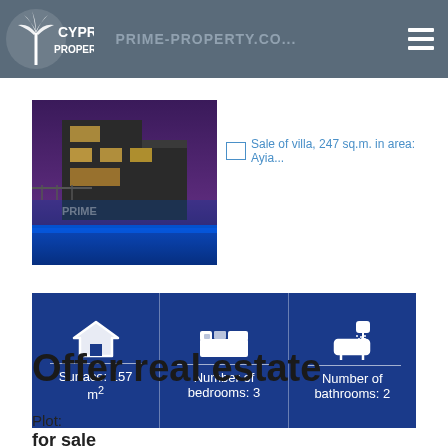PRIME-PROPERTY.CO... | Cyprus Properties
[Figure (photo): Modern villa with swimming pool at night with purple/blue lighting]
[Figure (screenshot): Thumbnail image placeholder: Sale of villa, 247 sq.m. in area: Ayia...]
[Figure (infographic): Property info bar showing: Surface: 157 m2, Number of bedrooms: 3, Number of bathrooms: 2]
Offer real estate
Plot:
for sale